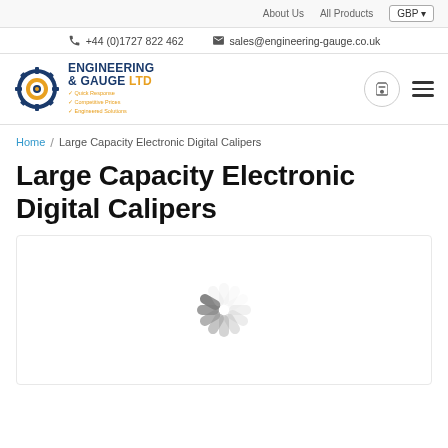About Us  All Products  GBP
+44 (0)1727 822 462  sales@engineering-gauge.co.uk
[Figure (logo): Engineering & Gauge Ltd logo with gear icon and taglines: Quick Response, Competitive Prices, Engineered Solutions]
Home / Large Capacity Electronic Digital Calipers
Large Capacity Electronic Digital Calipers
[Figure (photo): Loading spinner / placeholder for product image]